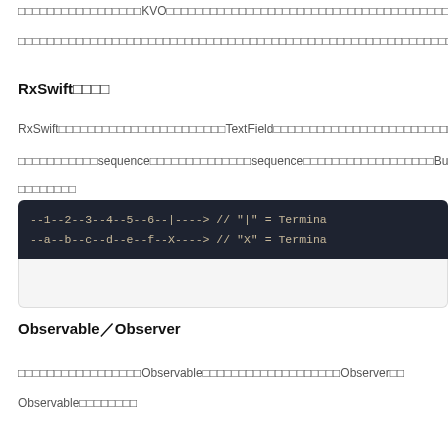…KVO…（truncated continuation of previous text）
（continuation paragraph）
RxSwift入門
RxSwift…TextField…（description of RxSwift and TextField）
…sequence…sequence…Bu…（continuation about sequence）
（continuation）
[Figure (screenshot): Code block showing two marble diagrams as comments: '--1--2--3--4--5--6--|-----> // "|" = Termina...' and '--a--b--c--d--e--f--X-----> // "X" = Termina...']
Observable／Observer
…Observable…Observer…（description of Observable and Observer relationship）
Observable（continuation）